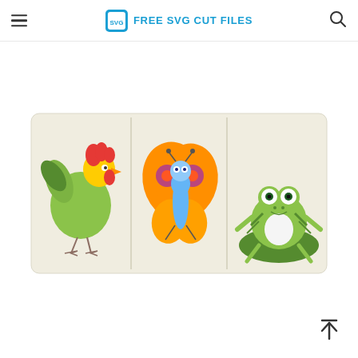FREE SVG CUT FILES
[Figure (photo): Three wooden animal puzzle pieces side by side on a light-colored wooden board: a colorful rooster/bird on the left, a butterfly with orange and purple wings in the center, and a green frog sitting on a lily pad on the right.]